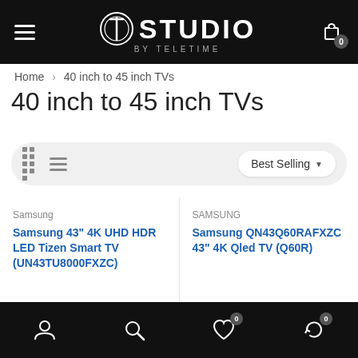STUDIO BY TELETIME
Home > 40 inch to 45 inch TVs
40 inch to 45 inch TVs
Best Selling
Samsung
Samsung 43" 4K UHD HDR LED Tizen Smart TV (UN43TU8000FXZC)
SAMSUNG
Samsung QN43Q60RAFXZC 43" 4K Qled TV (Q60R)
Navigation icons: user, search, wishlist (0), cart (0)